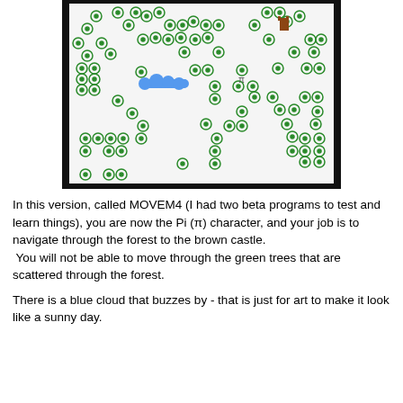[Figure (screenshot): A game map screenshot showing a dark-bordered white field with many green circle/ring tree icons scattered throughout. A small brown castle icon is in the upper right. A blue horizontal cloud/rectangle is in the middle-left area. A small pi (π) character label is near the center-right. The game is called MOVEM4.]
In this version, called MOVEM4 (I had two beta programs to test and learn things), you are now the Pi (π) character, and your job is to navigate through the forest to the brown castle.
 You will not be able to move through the green trees that are scattered through the forest.

There is a blue cloud that buzzes by - that is just for art to make it look like a sunny day.